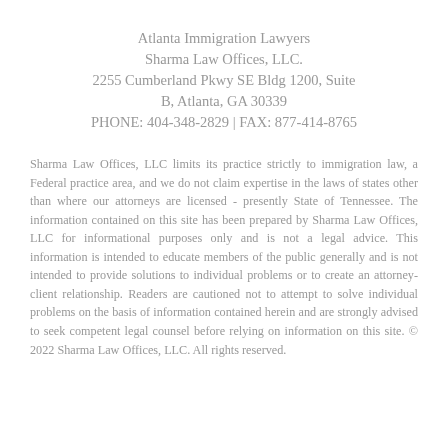Atlanta Immigration Lawyers
Sharma Law Offices, LLC.
2255 Cumberland Pkwy SE Bldg 1200, Suite B, Atlanta, GA 30339
PHONE: 404-348-2829 | FAX: 877-414-8765
Sharma Law Offices, LLC limits its practice strictly to immigration law, a Federal practice area, and we do not claim expertise in the laws of states other than where our attorneys are licensed - presently State of Tennessee. The information contained on this site has been prepared by Sharma Law Offices, LLC for informational purposes only and is not a legal advice. This information is intended to educate members of the public generally and is not intended to provide solutions to individual problems or to create an attorney-client relationship. Readers are cautioned not to attempt to solve individual problems on the basis of information contained herein and are strongly advised to seek competent legal counsel before relying on information on this site. © 2022 Sharma Law Offices, LLC. All rights reserved.